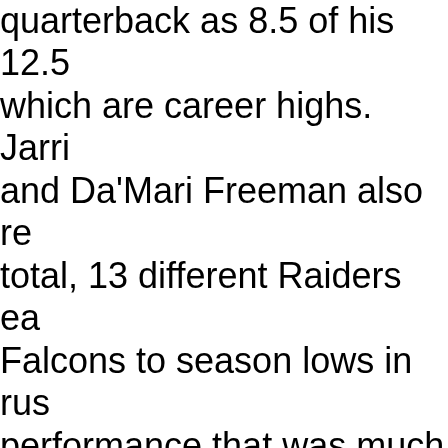quarterback as 8.5 of his 12.5 which are career highs. Jarri and Da'Mari Freeman also re total, 13 different Raiders ea Falcons to season lows in ru performance that was much against Massillon. Offensivel with his 137 yards of total off 38-yard catch that put the Ra the eventual field goal by Mu point of emphasis for Hardin him and his staff will look to i